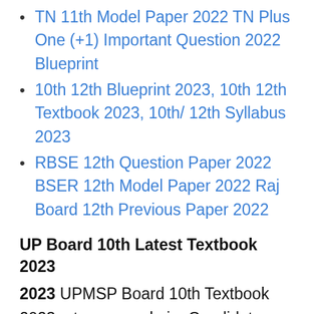TN 11th Model Paper 2022 TN Plus One (+1) Important Question 2022 Blueprint
10th 12th Blueprint 2023, 10th 12th Textbook 2023, 10th/ 12th Syllabus 2023
RBSE 12th Question Paper 2022 BSER 12th Model Paper 2022 Raj Board 12th Previous Paper 2022
UP Board 10th Latest Textbook 2023
2023 UPMSP Board 10th Textbook 2023, at upmsp.edu.in, Candidates can check the total subtleties from this Post. The UP Board 10th